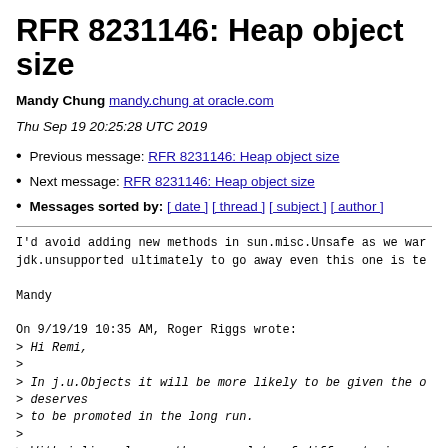RFR 8231146: Heap object size
Mandy Chung mandy.chung at oracle.com
Thu Sep 19 20:25:28 UTC 2019
Previous message: RFR 8231146: Heap object size
Next message: RFR 8231146: Heap object size
Messages sorted by: [ date ] [ thread ] [ subject ] [ author ]
I'd avoid adding new methods in sun.misc.Unsafe as we wan jdk.unsupported ultimately to go away even this one is te
Mandy
On 9/19/19 10:35 AM, Roger Riggs wrote:
> Hi Remi,
>
> In j.u.Objects it will be more likely to be given the o deserves
> to be promoted in the long run.
>
> With inline classes there are lots of different sizes o context,
> inline array elements, embedded in another inline, embe reference type,
> with or without padding, and depending on compress...